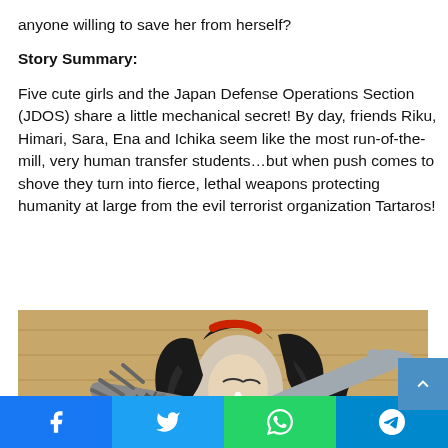anyone willing to save her from herself?
Story Summary:
Five cute girls and the Japan Defense Operations Section (JDOS) share a little mechanical secret! By day, friends Riku, Himari, Sara, Ena and Ichika seem like the most run-of-the-mill, very human transfer students…but when push comes to shove they turn into fierce, lethal weapons protecting humanity at large from the evil terrorist organization Tartaros!
[Figure (illustration): Manga-style illustration of a dark-haired male character wielding a clawed weapon with a serrated blade, hair flowing dramatically, wearing a grey outfit against a wooden background.]
Facebook | Twitter | WhatsApp | Telegram share buttons